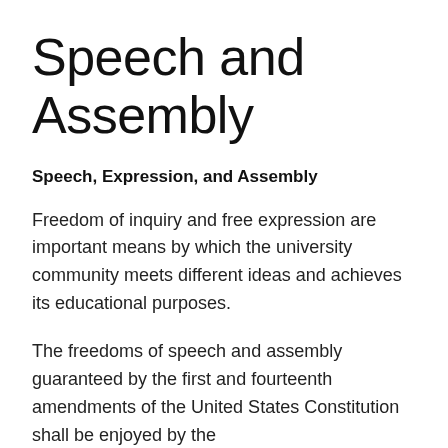Speech and Assembly
Speech, Expression, and Assembly
Freedom of inquiry and free expression are important means by which the university community meets different ideas and achieves its educational purposes.
The freedoms of speech and assembly guaranteed by the first and fourteenth amendments of the United States Constitution shall be enjoyed by the